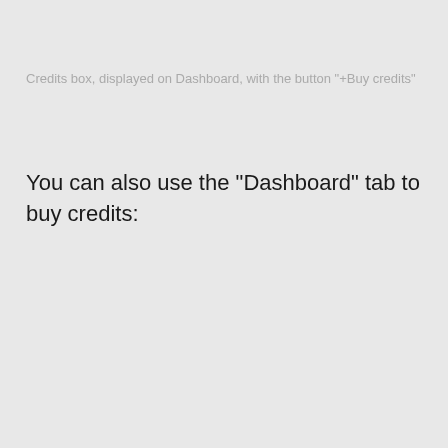Credits box, displayed on Dashboard, with the button "+Buy credits"
You can also use the “Dashboard” tab to buy credits: